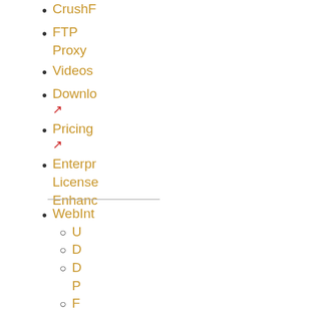CrushF
FTP
Proxy
Videos
Downlo
↗
Pricing
↗
Enterpr
License
Enhanc
WebInt
  U
  D
  D
  P
  F